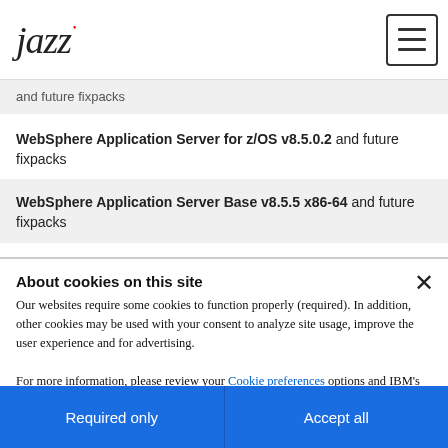jazz [logo] with hamburger menu button
| and future fixpacks | S |
| WebSphere Application Server for z/OS v8.5.0.2 and future fixpacks | S |
| WebSphere Application Server Base v8.5.5 x86-64 and future fixpacks | S |
| WebSphere Application Server Network Deployment v8.5.5 | S |
About cookies on this site
Our websites require some cookies to function properly (required). In addition, other cookies may be used with your consent to analyze site usage, improve the user experience and for advertising.

For more information, please review your Cookie preferences options and IBM's privacy statement.
Required only
Accept all